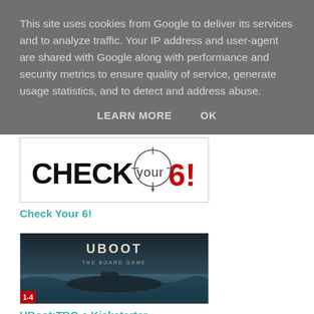This site uses cookies from Google to deliver its services and to analyze traffic. Your IP address and user-agent are shared with Google along with performance and security metrics to ensure quality of service, generate usage statistics, and to detect and address abuse.
LEARN MORE    OK
[Figure (logo): Check Your 6! logo - black text with red number 6 and circular crosshair sight graphic]
Check Your 6!
[Figure (photo): UBoot board game box art showing a submarine in stormy seas with text UBOOT THE BOARD GAME]
UBoot:TBG a Kickstarter